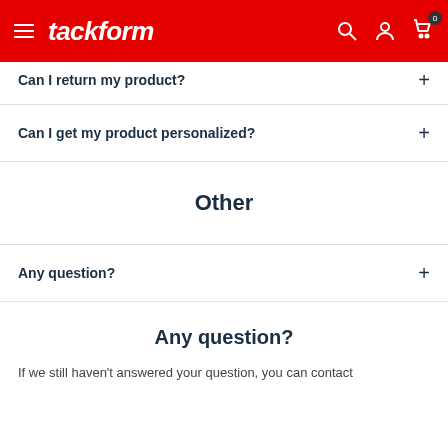tackform
Can I return my product?
Can I get my product personalized?
Other
Any question?
Any question?
If we still haven't answered your question, you can contact